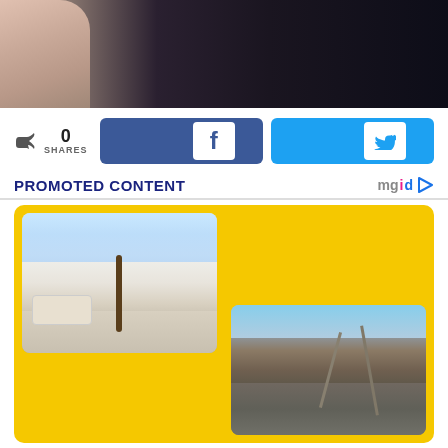[Figure (photo): Top portion of a person wearing dark clothing against a dark background, partial view of arm/shoulder]
[Figure (infographic): Social sharing bar showing 0 shares with Facebook (blue) and Twitter (light blue) share buttons]
PROMOTED CONTENT
[Figure (photo): Shopping mall interior with palm trees, stores, colorful decorations and skylights]
[Figure (photo): Destroyed building ruins with rubble and people in the background]